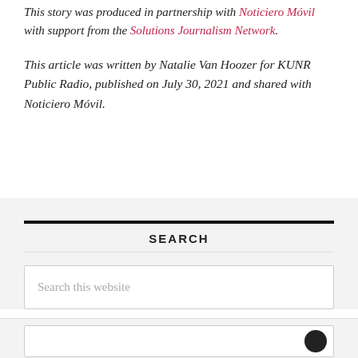This story was produced in partnership with Noticiero Móvil with support from the Solutions Journalism Network.
This article was written by Natalie Van Hoozer for KUNR Public Radio, published on July 30, 2021 and shared with Noticiero Móvil.
SEARCH
Search this website